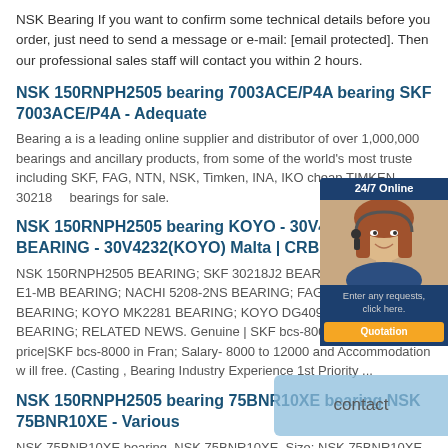NSK Bearing If you want to confirm some technical details before you order, just need to send a message or e-mail: [email protected]. Then our professional sales staff will contact you within 2 hours.
NSK 150RNPH2505 bearing 7003ACE/P4A bearing SKF 7003ACE/P4A - Adequate
Bearing a is a leading online supplier and distributor of over 1,000,000 bearings and ancillary products, from some of the world's most trusted including SKF, FAG, NTN, NSK, Timken, INA, IKO cheap TIMKEN 30218 bearings for sale.
NSK 150RNPH2505 bearing KOYO - 30V4232 BEARING - 30V4232(KOYO) Malta | CRB BEARING
NSK 150RNPH2505 BEARING; SKF 30218J2 BEARING; INA 293/500-E1-MB BEARING; NACHI 5208-2NS BEARING; FAG K527-522 BEARING; KOYO MK2281 BEARING; KOYO DG409026W2RSHZ BEARING; RELATED NEWS. Genuine | SKF bcs-8000 bearing price|SKF bcs-8000 in Fran; Salary- 8000 to 12000 and Accommodation w ill free. (Casting , Bearing Industry Experience 1st Priority ...
NSK 150RNPH2505 bearing 75BNR10XE bearing NSK 75BNR10XE - Various
NSK 75BNR10XE bearing. NSK 75BNR10XE, Size: NSK 75BNR10XE bearing,